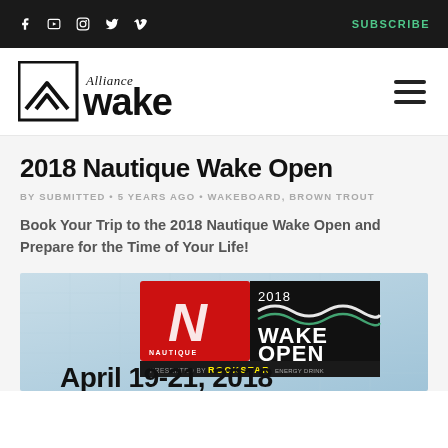Social icons (Facebook, YouTube, Instagram, Twitter, Vimeo) | SUBSCRIBE
[Figure (logo): Alliance Wake logo with mountain/chevron icon and stylized text]
2018 Nautique Wake Open
BY SUBMITTED • 5 YEARS AGO • WAKEBOARD, BROWN TROUT
Book Your Trip to the 2018 Nautique Wake Open and Prepare for the Time of Your Life!
[Figure (infographic): 2018 Nautique Wake Open event poster with Rockstar Energy logo. Shows Nautique logo (red with N), 2018 Wake Open text, presented by Rockstar Energy, April 19-21, 2018]